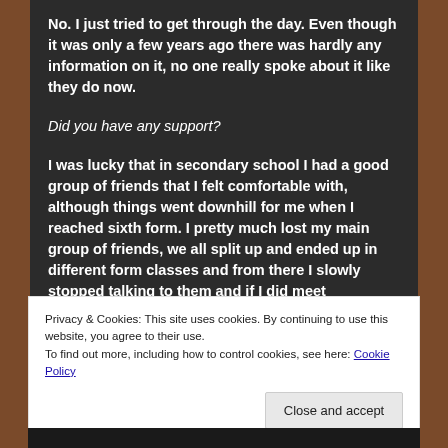No. I just tried to get through the day. Even though it was only a few years ago there was hardly any information on it, no one really spoke about it like they do now.
Did you have any support?
I was lucky that in secondary school I had a good group of friends that I felt comfortable with, although things went downhill for me when I reached sixth form. I pretty much lost my main group of friends, we all split up and ended up in different form classes and from there I slowly stopped talking to them and if I did meet
Privacy & Cookies: This site uses cookies. By continuing to use this website, you agree to their use.
To find out more, including how to control cookies, see here: Cookie Policy